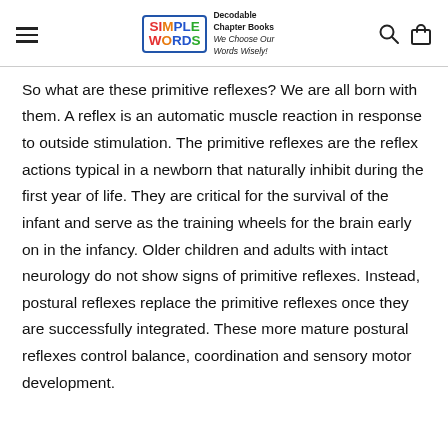Simple Words — Decodable Chapter Books — We Choose Our Words Wisely!
So what are these primitive reflexes? We are all born with them. A reflex is an automatic muscle reaction in response to outside stimulation. The primitive reflexes are the reflex actions typical in a newborn that naturally inhibit during the first year of life. They are critical for the survival of the infant and serve as the training wheels for the brain early on in the infancy. Older children and adults with intact neurology do not show signs of primitive reflexes. Instead, postural reflexes replace the primitive reflexes once they are successfully integrated. These more mature postural reflexes control balance, coordination and sensory motor development.